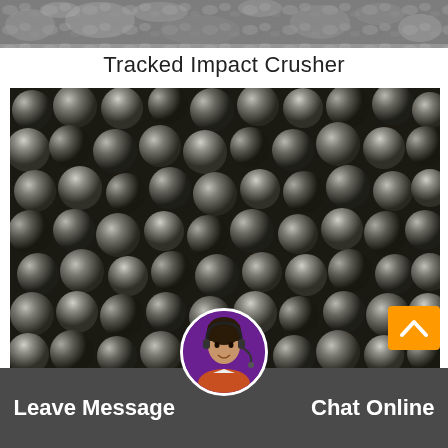[Figure (photo): Top partial photo showing crushed stone/gravel machinery output, gray rocky material]
Tracked Impact Crusher
[Figure (photo): Large photo of many dark metallic steel grinding balls/spheres packed together, shiny surface]
S...ll
[Figure (photo): Customer service representative avatar with headset, circular profile photo]
Leave Message    Chat Online